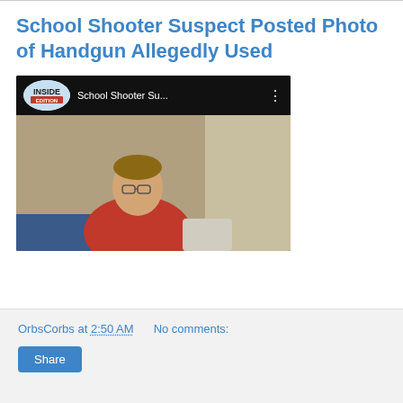School Shooter Suspect Posted Photo of Handgun Allegedly Used
[Figure (screenshot): YouTube video thumbnail from Inside Edition channel showing a young boy in a red hoodie sitting indoors. Video title shows 'School Shooter Su...' with a red play button overlay.]
OrbsCorbs at 2:50 AM    No comments:
Share